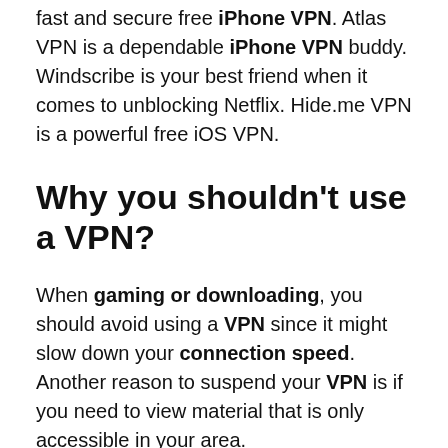fast and secure free iPhone VPN. Atlas VPN is a dependable iPhone VPN buddy. Windscribe is your best friend when it comes to unblocking Netflix. Hide.me VPN is a powerful free iOS VPN.
Why you shouldn’t use a VPN?
When gaming or downloading, you should avoid using a VPN since it might slow down your connection speed. Another reason to suspend your VPN is if you need to view material that is only accessible in your area.
Can VPNs be hacked?